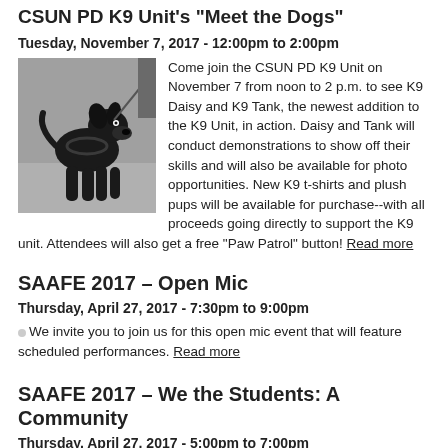CSUN PD K9 Unit's "Meet the Dogs"
Tuesday, November 7, 2017 - 12:00pm to 2:00pm
[Figure (photo): Black Labrador dog on leash standing outdoors]
Come join the CSUN PD K9 Unit on November 7 from noon to 2 p.m. to see K9 Daisy and K9 Tank, the newest addition to the K9 Unit, in action. Daisy and Tank will conduct demonstrations to show off their skills and will also be available for photo opportunities. New K9 t-shirts and plush pups will be available for purchase--with all proceeds going directly to support the K9 unit. Attendees will also get a free "Paw Patrol" button! Read more
SAAFE 2017 - Open Mic
Thursday, April 27, 2017 - 7:30pm to 9:00pm
We invite you to join us for this open mic event that will feature scheduled performances. Read more
SAAFE 2017 - We the Students: A Community
Thursday, April 27, 2017 - 5:00pm to 7:00pm